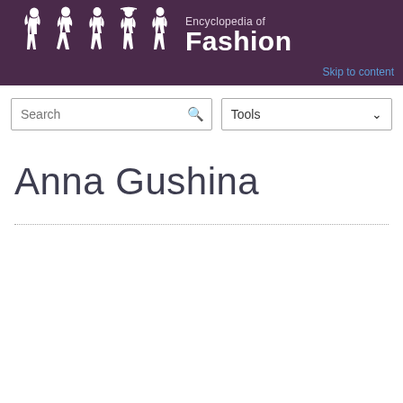Encyclopedia of Fashion
Skip to content
Search
Tools
Anna Gushina